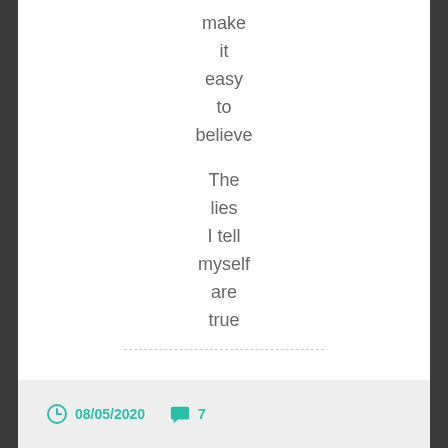make
it
easy
to
believe

The
lies
I tell
myself
are
true
08/05/2020   7